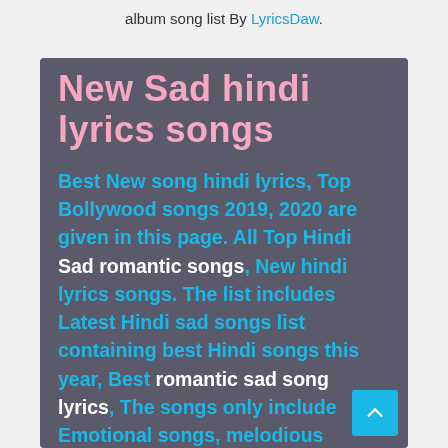album song list By LyricsDaw.
New Sad hindi lyrics songs
Best New song hindi lyrics, Top Bollywood songs 2019, 2020 are given in this page. All Top Hindi Sad romantic songs, New hindi lyrics songs. The list includes Latest Hindi sad songs list containing best Hindi songs this year, Best romantic sad song lyrics, The songs only include Emotional songs, melodious songs, Bollywood music or album song list By